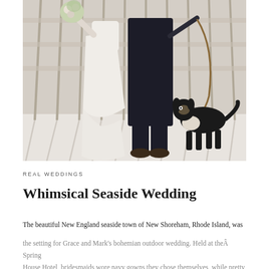[Figure (photo): Wedding photo of a bride in white dress holding a bouquet and groom in dark suit holding a leash with a small black and white dog, standing in front of a wooden fence on a snowy beach]
REAL WEDDINGS
Whimsical Seaside Wedding
The beautiful New England seaside town of New Shoreham, Rhode Island, was the setting for Grace and Mark's bohemian outdoor wedding. Held at theÂ Spring House Hotel, bridesmaids wore navy gowns they chose themselves, while pretty bride Grace chose aÂ Erin Westons® gown accented with a metallic sheen...